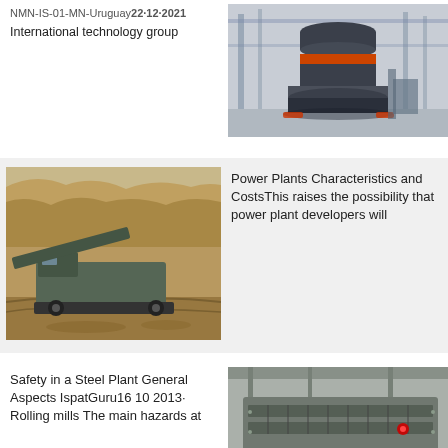International technology group
[Figure (photo): Large industrial cone crusher machine in a factory/warehouse setting with orange accent ring]
[Figure (photo): Mining/quarrying mobile crushing equipment in an open quarry with rocky terrain]
Power Plants Characteristics and CostsThis raises the possibility that power plant developers will
Safety in a Steel Plant General Aspects IspatGuru16 10 2013· Rolling mills The main hazards at
[Figure (photo): Industrial vibrating screen or processing machine in a factory setting]